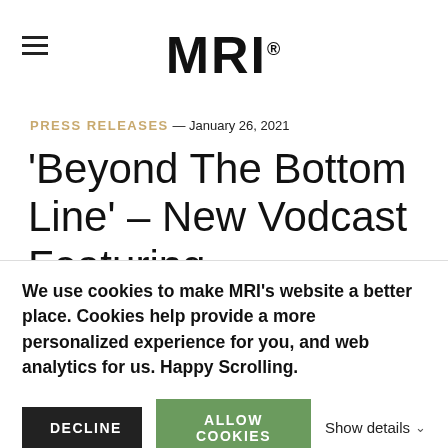MRI.
PRESS RELEASES — January 26, 2021
'Beyond The Bottom Line' – New Vodcast Featuring Executives Speaking Candidly
We use cookies to make MRI's website a better place. Cookies help provide a more personalized experience for you, and web analytics for us. Happy Scrolling.
DECLINE   ALLOW COOKIES   Show details